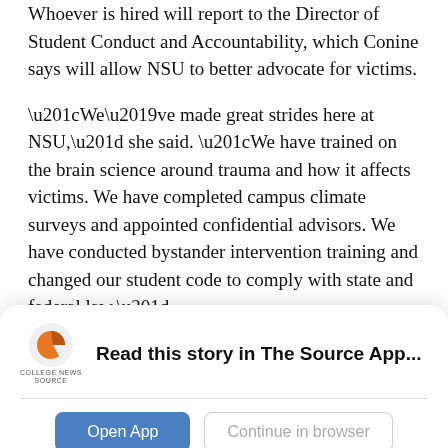Whoever is hired will report to the Director of Student Conduct and Accountability, which Conine says will allow NSU to better advocate for victims.
“We’ve made great strides here at NSU,” she said. “We have trained on the brain science around trauma and how it affects victims. We have completed campus climate surveys and appointed confidential advisors. We have conducted bystander intervention training and changed our student code to comply with state and federal law.”
“I think we’ve done a lot of good work, empowered victims and protected our students,” Conine said.
[Figure (logo): College News Source app logo and read-in-app banner with Open App and Continue in browser buttons]